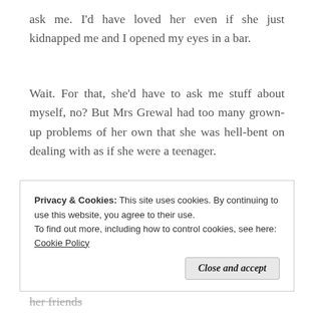ask me. I'd have loved her even if she just kidnapped me and I opened my eyes in a bar.
Wait. For that, she'd have to ask me stuff about myself, no? But Mrs Grewal had too many grown-up problems of her own that she was hell-bent on dealing with as if she were a teenager.
The current problem at hand was that two of her friends who had
Privacy & Cookies: This site uses cookies. By continuing to use this website, you agree to their use.
To find out more, including how to control cookies, see here: Cookie Policy
Close and accept
each other. And here the bitch was complaining that her friends